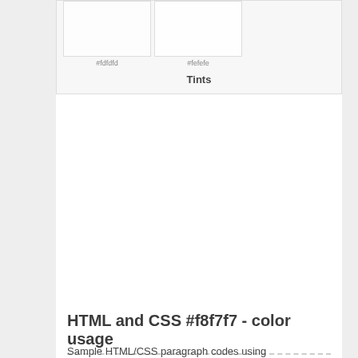[Figure (infographic): Color swatches showing two tint colors: #fdfdfd and #fefefe with label 'Tints' below]
HTML and CSS #f8f7f7 - color usage
Sample HTML/CSS paragraph codes using